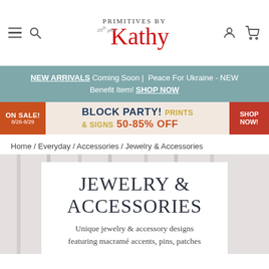[Figure (screenshot): Website navigation bar with hamburger menu, search icon, Primitives by Kathy logo (25th year), user account icon, and shopping cart icon]
NEW ARRIVALS Coming Soon | Peace For Ukraine - NEW Benefit Item! SHOP NOW
[Figure (infographic): Sale banner: ON SALE! 8/26-8/29 BLOCK PARTY! PRINTS & SIGNS 50-85% OFF SHOP NOW!]
Home / Everyday / Accessories / Jewelry & Accessories
JEWELRY & ACCESSORIES
Unique jewelry & accessory designs featuring macramé accents, pins, patches